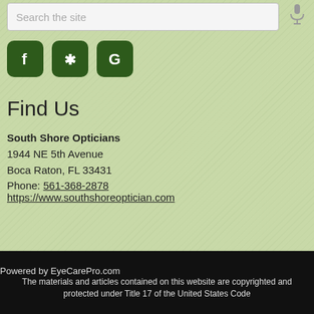Search the site
[Figure (illustration): Microphone icon in grey]
[Figure (illustration): Social media icons: Facebook (f), Yelp (asterisk), Google (G) in dark green rounded square buttons]
Find Us
South Shore Opticians
1944 NE 5th Avenue
Boca Raton, FL 33431
Phone: 561-368-2878
https://www.southshoreoptician.com
Powered by EyeCarePro.com
The materials and articles contained on this website are copyrighted and protected under Title 17 of the United States Code